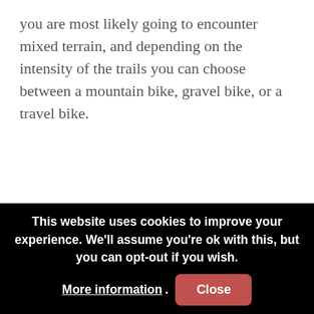you are most likely going to encounter mixed terrain, and depending on the intensity of the trails you can choose between a mountain bike, gravel bike, or a travel bike.
This website uses cookies to improve your experience. We'll assume you're ok with this, but you can opt-out if you wish. More information. Close